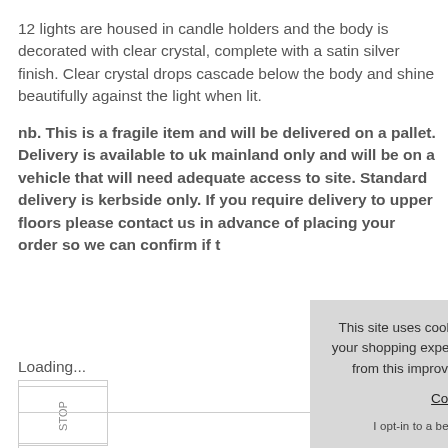12 lights are housed in candle holders and the body is decorated with clear crystal, complete with a satin silver finish. Clear crystal drops cascade below the body and shine beautifully against the light when lit.
nb. This is a fragile item and will be delivered on a pallet. Delivery is available to uk mainland only and will be on a vehicle that will need adequate access to site. Standard delivery is kerbside only. If you require delivery to upper floors please contact us in advance of placing your order so we can confirm if t
Loading...
[Figure (other): Sidebar box with rotated label 'STOP' visible on left side of page]
This site uses cookies to provide and improve your shopping experience. If you want to benefit from this improved service, please opt-in. Cookies Page. I opt-in to a better browsing experience
Accept Cookies